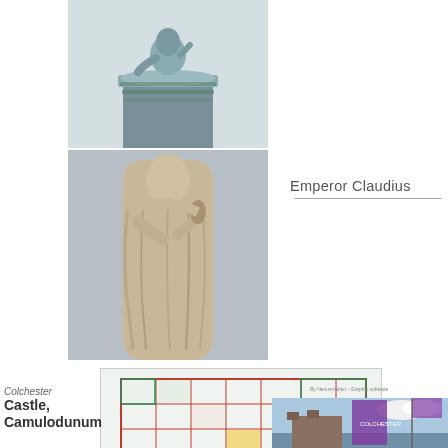[Figure (photo): Statue on top of a column, greenish patina, partial view of torso and base]
[Figure (photo): Marble or stone statue of Emperor Claudius in Roman toga, standing pose]
Emperor Claudius
[Figure (map): Archaeological plan/map of Camulodunum showing street grid and building outlines with colored overlays]
Camulodunum
Colchester Castle, Camulodunum
[Figure (photo): Colchester Castle photo with purple banner/flag and blue sky]
By Nexusmallen - Graphic software